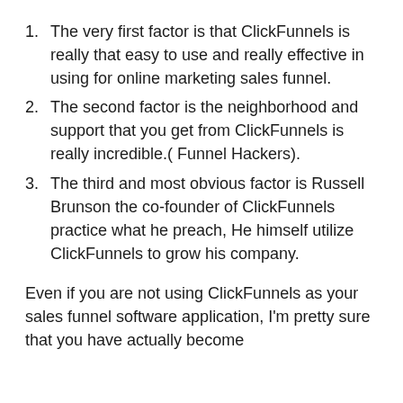The very first factor is that ClickFunnels is really that easy to use and really effective in using for online marketing sales funnel.
The second factor is the neighborhood and support that you get from ClickFunnels is really incredible.( Funnel Hackers).
The third and most obvious factor is Russell Brunson the co-founder of ClickFunnels practice what he preach, He himself utilize ClickFunnels to grow his company.
Even if you are not using ClickFunnels as your sales funnel software application, I'm pretty sure that you have actually become